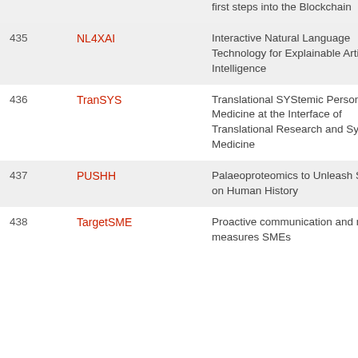| # | Short Name | Full Title |
| --- | --- | --- |
|  |  | first steps into the Blockchain |
| 435 | NL4XAI | Interactive Natural Language Technology for Explainable Artificial Intelligence |
| 436 | TranSYS | Translational SYStemic Personalised Medicine at the Interface of Translational Research and Systems Medicine |
| 437 | PUSHH | Palaeoproteomics to Unleash Studies on Human History |
| 438 | TargetSME | Proactive communication and marketing measures SMEs |